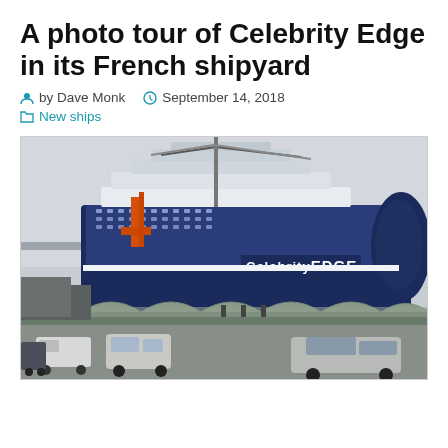A photo tour of Celebrity Edge in its French shipyard
by Dave Monk  September 14, 2018  New ships
[Figure (photo): The Celebrity Edge cruise ship docked at a French shipyard, with construction cranes visible beside it and cars parked in the foreground under a canopy structure. The ship's name 'Celebrity EDGE' is visible on its hull.]